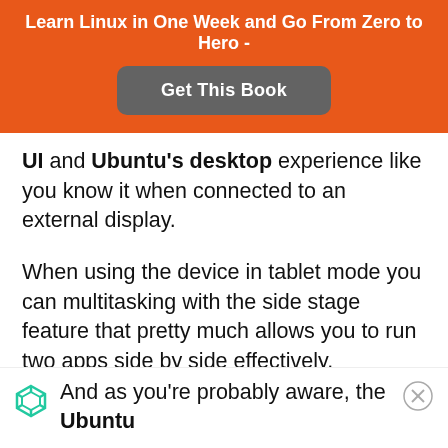Learn Linux in One Week and Go From Zero to Hero -
[Figure (other): Orange banner with 'Get This Book' button in grey rounded rectangle]
UI and Ubuntu's desktop experience like you know it when connected to an external display.
When using the device in tablet mode you can multitasking with the side stage feature that pretty much allows you to run two apps side by side effectively.
And as you're probably aware, the Ubuntu